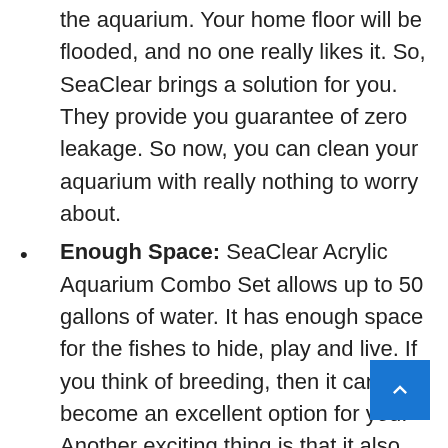the aquarium. Your home floor will be flooded, and no one really likes it. So, SeaClear brings a solution for you. They provide you guarantee of zero leakage. So now, you can clean your aquarium with really nothing to worry about.
Enough Space: SeaClear Acrylic Aquarium Combo Set allows up to 50 gallons of water. It has enough space for the fishes to hide, play and live. If you think of breeding, then it can become an excellent option for you. Another exciting thing is that it also gives you grant to both saltwater and freshwater. So, you can decorate your set with different types of fishes. Beginners can easily accommodate